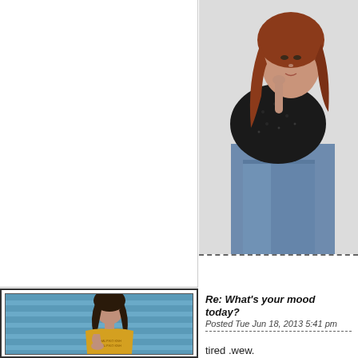[Figure (photo): Top-left white/blank quadrant, partial previous post area]
[Figure (photo): Top-right: photo of a young woman with auburn hair wearing a black lace top and jeans, posing against a white background]
[Figure (photo): Bottom-left: avatar photo of a young woman with dark hair wearing a yellow/mustard top, seated in front of blue striped wall]
Re: What's your mood today?
Posted Tue Jun 18, 2013 5:41 pm
tired .wew.